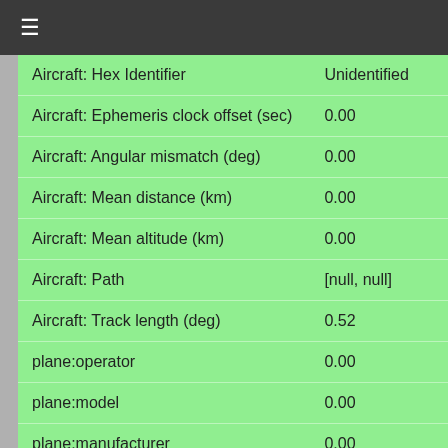≡
| Property | Value |
| --- | --- |
| Aircraft: Hex Identifier | Unidentified |
| Aircraft: Ephemeris clock offset (sec) | 0.00 |
| Aircraft: Angular mismatch (deg) | 0.00 |
| Aircraft: Mean distance (km) | 0.00 |
| Aircraft: Mean altitude (km) | 0.00 |
| Aircraft: Path | [null, null] |
| Aircraft: Track length (deg) | 0.52 |
| plane:operator | 0.00 |
| plane:model | 0.00 |
| plane:manufacturer | 0.00 |
| Satellite: Name | STARLINK-1 |
| Satellite: Number | 45399.00 |
| Satellite: Ephemeris clock offset (sec) | 0.00 |